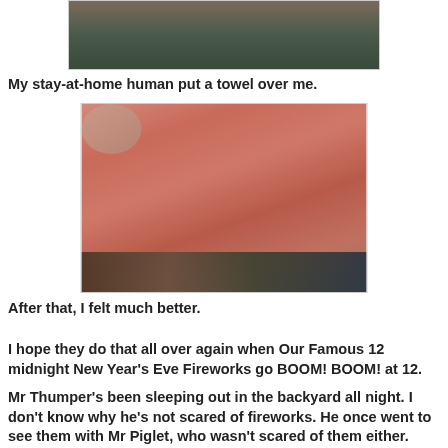[Figure (photo): Top portion of a photo showing what appears to be a pet covered with fabric on a couch, partially cropped at top]
My stay-at-home human put a towel over me.
[Figure (photo): Photo of a pink/red towel or blanket draped over something on what appears to be a couch or furniture]
After that, I felt much better.
I hope they do that all over again when Our Famous 12 midnight New Year's Eve Fireworks go BOOM! BOOM! at 12.
Mr Thumper's been sleeping out in the backyard all night. I don't know why he's not scared of fireworks. He once went to see them with Mr Piglet, who wasn't scared of them either.